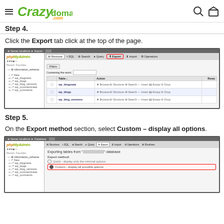Crazy domains .com
Step 4.
Click the Export tab click at the top of the page.
[Figure (screenshot): phpMyAdmin interface showing database tables with the Export tab highlighted in a red border. Left sidebar shows phpMyAdmin logo and database tree with information_schema, wp_blogmeta, wp_blogs, wp_blog_versions, wp_commentmeta, wp_comments. Main panel shows tabs: Structure, SQL, Search, Query, Export (highlighted), Import, Operations. A Filters section is visible with a Containing the word field and a table listing wp_blogmeta, wp_blogs, wp_blog_versions with their actions.]
Step 5.
On the Export method section, select Custom – display all options.
[Figure (screenshot): phpMyAdmin interface showing Export tab page. Left sidebar shows phpMyAdmin logo and database tree. Main panel shows tabs: Structure, SQL, Search, Query, Export, Import, Operations, Routines. Content area shows 'Exporting tables from [blurred] database'. Export method section shows two radio options: Quick - display only the minimal options, and Custom - display all possible options (highlighted in red border with bullet selected).]